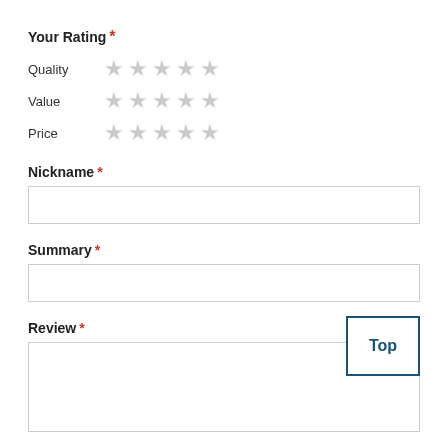Your Rating *
Quality ★★★★★
Value ★★★★★
Price ★★★★★
Nickname *
[text input field]
Summary *
[text input field]
Review *
[textarea input field]
Top